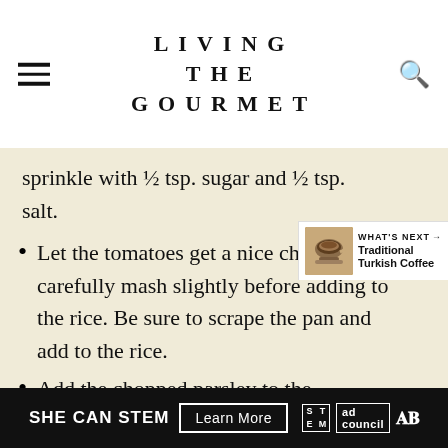LIVING THE GOURMET
sprinkle with ½ tsp. sugar and ½ tsp. salt.
Let the tomatoes get a nice char. Then carefully mash slightly before adding to the rice. Be sure to scrape the pan and add to the rice.
Add the chopped parsley to the
[Figure (screenshot): What's Next promo card with Traditional Turkish Coffee and a coffee cup image]
SHE CAN STEM  Learn More  [ad logos]